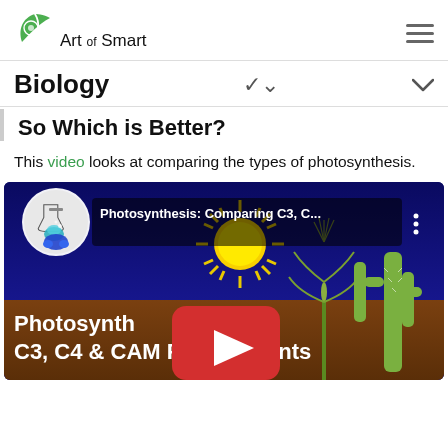Art of Smart
Biology
So Which is Better?
This video looks at comparing the types of photosynthesis.
[Figure (screenshot): YouTube video thumbnail for 'Photosynthesis: Comparing C3, C4 & CAM Plants' showing a science channel logo, sun illustration, corn plant, cactus, and a YouTube play button overlay.]